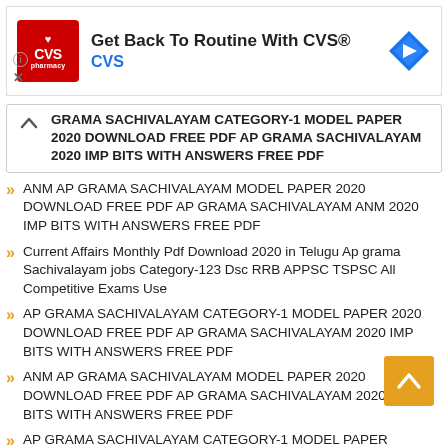[Figure (other): CVS Pharmacy advertisement banner: 'Get Back To Routine With CVS®' with CVS logo and navigation icon]
GRAMA SACHIVALAYAM CATEGORY-1 MODEL PAPER 2020 DOWNLOAD FREE PDF AP GRAMA SACHIVALAYAM 2020 IMP BITS WITH ANSWERS FREE PDF
ANM AP GRAMA SACHIVALAYAM MODEL PAPER 2020 DOWNLOAD FREE PDF AP GRAMA SACHIVALAYAM ANM 2020 IMP BITS WITH ANSWERS FREE PDF
Current Affairs Monthly Pdf Download 2020 in Telugu Ap grama Sachivalayam jobs Category-123 Dsc RRB APPSC TSPSC All Competitive Exams Use
AP GRAMA SACHIVALAYAM CATEGORY-1 MODEL PAPER 2020 DOWNLOAD FREE PDF AP GRAMA SACHIVALAYAM 2020 IMP BITS WITH ANSWERS FREE PDF
ANM AP GRAMA SACHIVALAYAM MODEL PAPER 2020 DOWNLOAD FREE PDF AP GRAMA SACHIVALAYAM 2020 IMP BITS WITH ANSWERS FREE PDF
AP GRAMA SACHIVALAYAM CATEGORY-1 MODEL PAPER